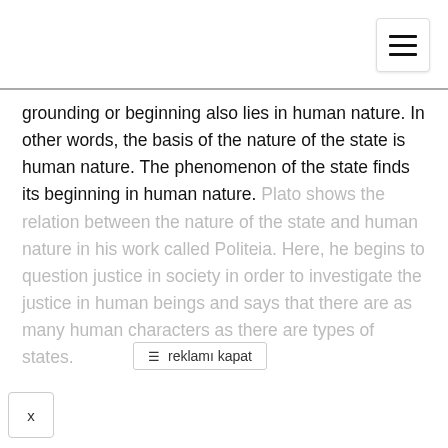[Figure (other): Hamburger menu icon button in top right corner]
grounding or beginning also lies in human nature. In other words, the basis of the nature of the state is human nature. The phenomenon of the state finds its beginning in human nature. Plato shows the relationship between the nature of the state and human nature in his work called Politeia. Here, he begins to question justice in society in order to investigate the justice in human beings and says that there are as many human characters as there are types of states.
[Figure (other): Ad close button overlay: hamburger icon and text 'reklamı kapat']
[Figure (other): Close/dismiss button 'x' in bottom left corner]